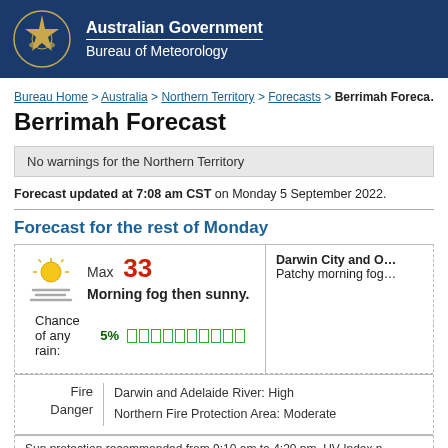Australian Government Bureau of Meteorology
Bureau Home > Australia > Northern Territory > Forecasts > Berrimah Forecast
Berrimah Forecast
No warnings for the Northern Territory
Forecast updated at 7:08 am CST on Monday 5 September 2022.
Forecast for the rest of Monday
Max 33
Morning fog then sunny.
Chance of any rain: 5%
Darwin City and O...
Patchy morning fog...
Fire Danger
Darwin and Adelaide River: High
Northern Fire Protection Area: Moderate
Sun protection recommended from 9:10 am to 4:20 pm, UV Index p...
Tuesday 6 September